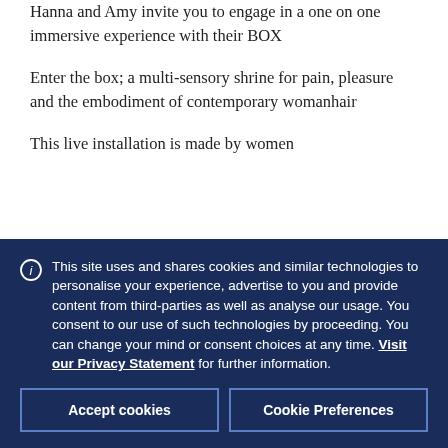Hanna and Amy invite you to engage in a one on one immersive experience with their BOX
Enter the box; a multi-sensory shrine for pain, pleasure and the embodiment of contemporary womanhair
This live installation is made by women
This site uses and shares cookies and similar technologies to personalise your experience, advertise to you and provide content from third-parties as well as analyse our usage. You consent to our use of such technologies by proceeding. You can change your mind or consent choices at any time. Visit our Privacy Statement for further information.